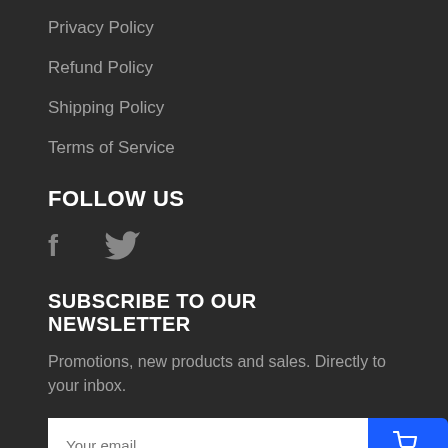Privacy Policy
Refund Policy
Shipping Policy
Terms of Service
FOLLOW US
[Figure (other): Social media icons: Facebook (f) and Twitter (bird icon)]
SUBSCRIBE TO OUR NEWSLETTER
Promotions, new products and sales. Directly to your inbox.
Your email